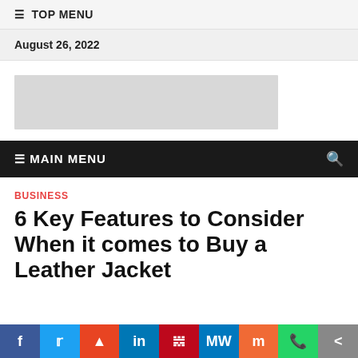≡ TOP MENU
August 26, 2022
[Figure (other): Advertisement placeholder banner (gray rectangle)]
≡ MAIN MENU
BUSINESS
6 Key Features to Consider When it comes to Buy a Leather Jacket